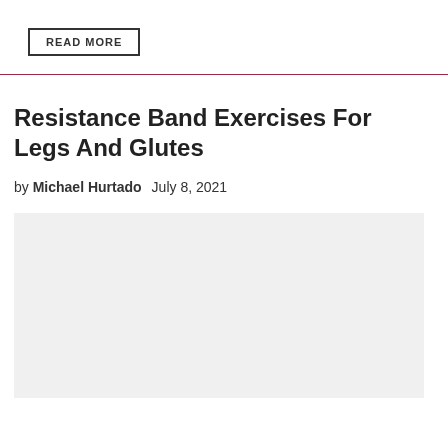READ MORE
Resistance Band Exercises For Legs And Glutes
by Michael Hurtado   July 8, 2021
[Figure (photo): Light gray placeholder image for article about resistance band exercises for legs and glutes]